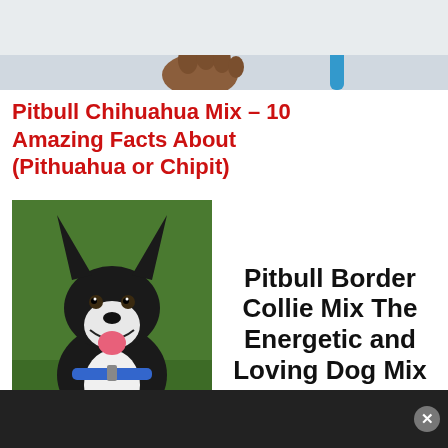[Figure (photo): Top portion of a dog on a leash — paw and blue leash visible against a light background]
Pitbull Chihuahua Mix – 10 Amazing Facts About (Pithuahua or Chipit)
[Figure (photo): Black and white dog with pointed ears, wearing a green bandana and blue collar, sitting on grass and smiling]
Pitbull Border Collie Mix The Energetic and Loving Dog Mix